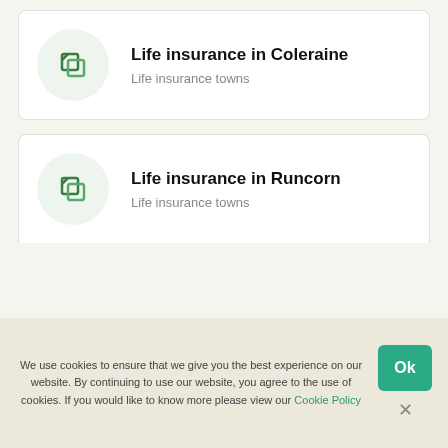[Figure (logo): Green crop/link icon in a light green circle for Life insurance in Coleraine card]
Life insurance in Coleraine
Life insurance towns
[Figure (logo): Green crop/link icon in a light green circle for Life insurance in Runcorn card]
Life insurance in Runcorn
Life insurance towns
We use cookies to ensure that we give you the best experience on our website. By continuing to use our website, you agree to the use of cookies. If you would like to know more please view our Cookie Policy